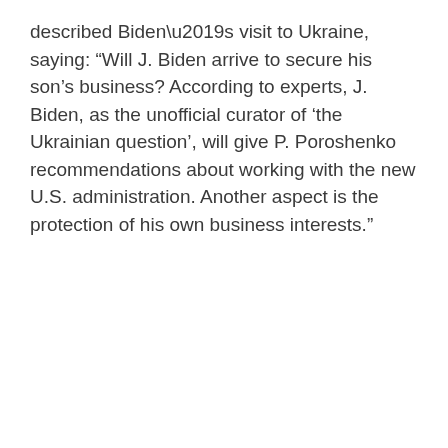described Biden's visit to Ukraine, saying: “Will J. Biden arrive to secure his son’s business? According to experts, J. Biden, as the unofficial curator of ‘the Ukrainian question’, will give P. Poroshenko recommendations about working with the new U.S. administration. Another aspect is the protection of his own business interests.”